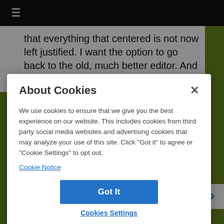≡
that everything that centered is not now left justified. I want the option to go back to the old, much better editor. And I try to insert hyperlinks
About Cookies
We use cookies to ensure that we give you the best experience on our website. This includes cookies from third party social media websites and advertising cookies that may analyze your use of this site. Click "Got it" to agree or "Cookie Settings" to opt out.
Cookie Notice
Got It
Cookies Settings